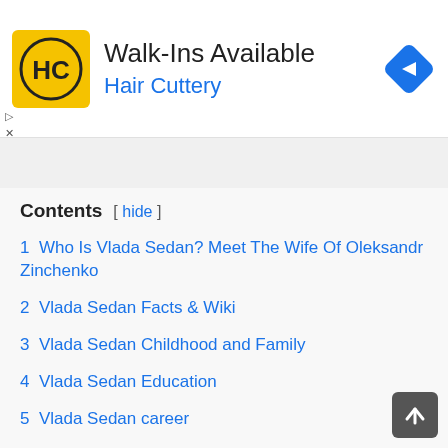[Figure (infographic): Hair Cuttery advertisement banner with yellow HC logo, text 'Walk-Ins Available' and 'Hair Cuttery', and a blue navigation arrow icon]
1  Who Is Vlada Sedan? Meet The Wife Of Oleksandr Zinchenko
2  Vlada Sedan Facts & Wiki
3  Vlada Sedan Childhood and Family
4  Vlada Sedan Education
5  Vlada Sedan career
6  Vlada Sedan Net Worth
7  Vlada Sedan and Oleksandr Zinchenko relationship
8  Vlada Sedan and Oleksandr Zinchenko Children
9  Vlada Sedan Social media